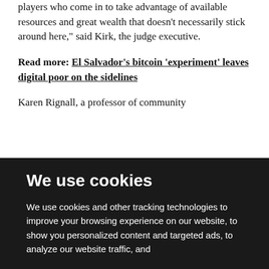players who come in to take advantage of available resources and great wealth that doesn't necessarily stick around here," said Kirk, the judge executive.
Read more: El Salvador's bitcoin 'experiment' leaves digital poor on the sidelines
Karen Rignall, a professor of community
We use cookies
We use cookies and other tracking technologies to improve your browsing experience on our website, to show you personalized content and targeted ads, to analyze our website traffic, and